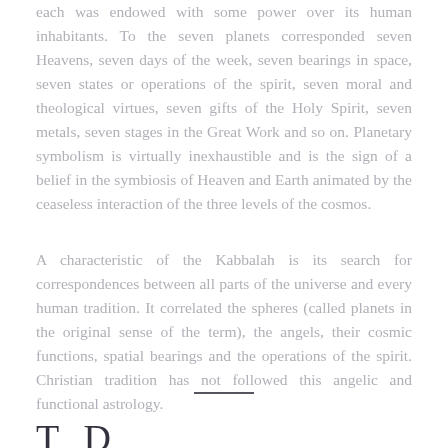each was endowed with some power over its human inhabitants. To the seven planets corresponded seven Heavens, seven days of the week, seven bearings in space, seven states or operations of the spirit, seven moral and theological virtues, seven gifts of the Holy Spirit, seven metals, seven stages in the Great Work and so on. Planetary symbolism is virtually inexhaustible and is the sign of a belief in the symbiosis of Heaven and Earth animated by the ceaseless interaction of the three levels of the cosmos.
A characteristic of the Kabbalah is its search for correspondences between all parts of the universe and every human tradition. It correlated the spheres (called planets in the original sense of the term), the angels, their cosmic functions, spatial bearings and the operations of the spirit. Christian tradition has not followed this angelic and functional astrology.